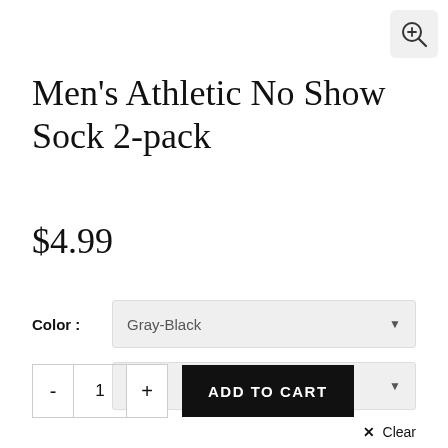[Figure (other): Zoom/magnify button icon in top right corner]
Men's Athletic No Show Sock 2-pack
$4.99
Color: Gray-Black
Size: 39-42
✕ Clear
- 1 + ADD TO CART